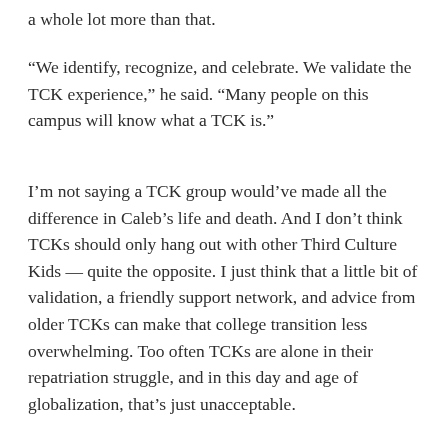a whole lot more than that.
“We identify, recognize, and celebrate. We validate the TCK experience,” he said. “Many people on this campus will know what a TCK is.”
I’m not saying a TCK group would’ve made all the difference in Caleb’s life and death. And I don’t think TCKs should only hang out with other Third Culture Kids — quite the opposite. I just think that a little bit of validation, a friendly support network, and advice from older TCKs can make that college transition less overwhelming. Too often TCKs are alone in their repatriation struggle, and in this day and age of globalization, that’s just unacceptable.